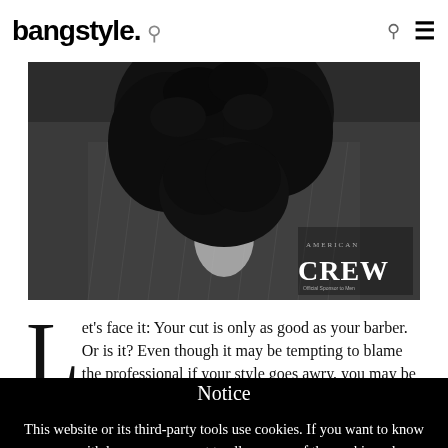bangstyle. [search] [menu]
[Figure (photo): Black and white close-up photo of a man with a large beard wearing a pinstripe suit jacket, with American Crew logo visible in bottom-right corner]
Let's face it: Your cut is only as good as your barber. Or is it? Even though it may be tempting to blame the professional if your style goes awry, you may be
Notice
This website or its third-party tools use cookies. If you want to know more or withdraw your consent to all or some of the cookies, please refer to the
Accept